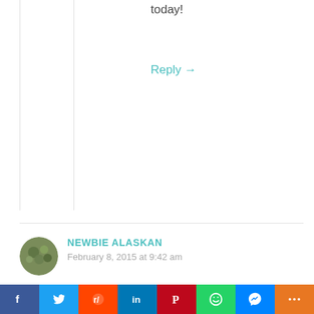today!
Reply →
NEWBIE ALASKAN
February 8, 2015 at 9:42 am
Ever since I made my first Alaskan visit in September '96 I have called 'the Mountain' Denali as I was told that was its Native Alaskan name. Indeed, part of my decision to relocate to Talkeetna was to live within the shadow of such an incredible mountain. I, too, have followed the recent news stories regarding the
[Figure (infographic): Social share bar with icons for Facebook, Twitter, Reddit, LinkedIn, Pinterest, WhatsApp, Messenger, and a share/more button]